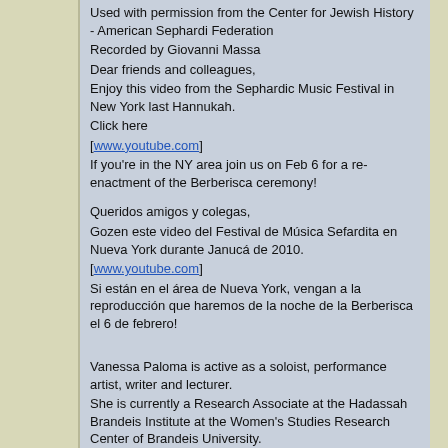Used with permission from the Center for Jewish History - American Sephardi Federation
Recorded by Giovanni Massa
Dear friends and colleagues,
Enjoy this video from the Sephardic Music Festival in New York last Hannukah.
Click here
[www.youtube.com]
If you're in the NY area join us on Feb 6 for a re-enactment of the Berberisca ceremony!

Queridos amigos y colegas,
Gozen este video del Festival de Música Sefardita en Nueva York durante Janucá de 2010.
[www.youtube.com]
Si están en el área de Nueva York, vengan a la reproducción que haremos de la noche de la Berberisca el 6 de febrero!
Vanessa Paloma is active as a soloist, performance artist, writer and lecturer.
She is currently a Research Associate at the Hadassah Brandeis Institute at the Women's Studies Research Center of Brandeis University.

Ms. Paloma was a Fulbright Senior Research Scholar for 2007-2008 in Morocco. She leads a group based in Casablanca, which perform Judeo-Spanish Moroccan